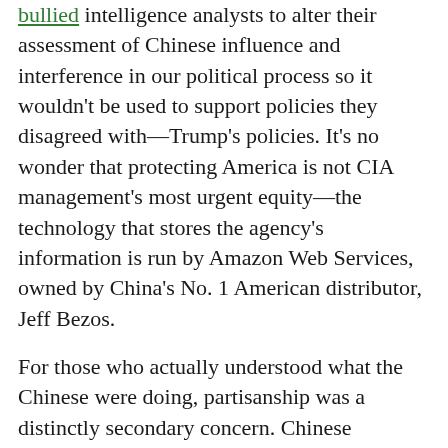bullied intelligence analysts to alter their assessment of Chinese influence and interference in our political process so it wouldn't be used to support policies they disagreed with—Trump's policies. It's no wonder that protecting America is not CIA management's most urgent equity—the technology that stores the agency's information is run by Amazon Web Services, owned by China's No. 1 American distributor, Jeff Bezos.
For those who actually understood what the Chinese were doing, partisanship was a distinctly secondary concern. Chinese behavior was authentically alarming—as was the seeming inability of core American security institutions to take it seriously. "Through the 1980s, people who advanced the interests of foreign powers whose ideas were inimical to republican form of government were ostracized," says a former Obama administration intelligence official. "But with the advent of globalism, they made excuses for China, even bending the intelligence to fit their preferences. During the Bush and Obama years, the standard assessment was that the